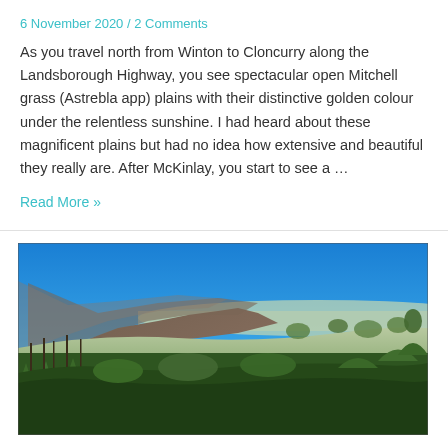6 November 2020 / 2 Comments
As you travel north from Winton to Cloncurry along the Landsborough Highway, you see spectacular open Mitchell grass (Astrebla app) plains with their distinctive golden colour under the relentless sunshine. I had heard about these magnificent plains but had no idea how extensive and beautiful they really are. After McKinlay, you start to see a ...
Read More »
[Figure (photo): Panoramic landscape photo showing a wide valley with dense green scrubland and trees in the foreground, rocky cliff escarpments on the left side, an expansive valley in the middle ground, and a vivid bright blue sky with no clouds occupying the upper third of the image.]